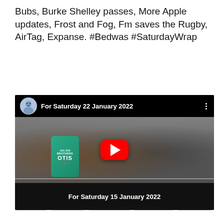Bubs, Burke Shelley passes, More Apple updates, Frost and Fog, Fm saves the Rugby, AirTag, Expanse. #Bedwas #SaturdayWrap
[Figure (screenshot): YouTube video embed showing a man holding a can of 'Julian Brothers OTIS' beer while wearing a headset microphone. The video title reads 'For Saturday 22 January 2022' with a YouTube play button overlay. The bottom bar shows 'For Saturday 15 January 2022'.]
Share this:
Email
Twitter
Facebook
Pinterest
Tumblr